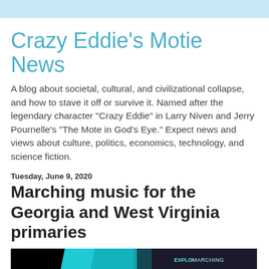Crazy Eddie's Motie News
A blog about societal, cultural, and civilizational collapse, and how to stave it off or survive it. Named after the legendary character "Crazy Eddie" in Larry Niven and Jerry Pournelle's "The Mote in God's Eye." Expect news and views about culture, politics, economics, technology, and science fiction.
Tuesday, June 9, 2020
Marching music for the Georgia and West Virginia primaries
[Figure (photo): A marching band themed image with a dark background, teal/cyan graphic elements resembling a musical note or banner on the left, and a person wearing a wide-brimmed hat on the right side. A watermark reading 'EXPLOMARCHING' appears in the upper right.]